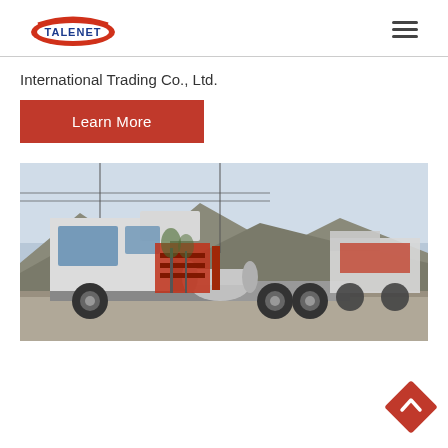[Figure (logo): Talenet company logo with red oval ellipse and blue text 'TALENET']
International Trading Co., Ltd.
Learn More
[Figure (photo): White heavy-duty truck (tractor unit) parked outdoors with mountains in background, red cargo vehicles visible behind it]
[Figure (infographic): Orange diamond-shaped back-to-top button with upward chevron arrow]